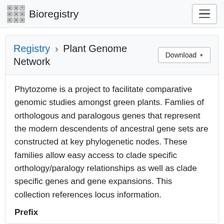Bioregistry
Registry › Plant Genome Network
Phytozome is a project to facilitate comparative genomic studies amongst green plants. Famlies of orthologous and paralogous genes that represent the modern descendents of ancestral gene sets are constructed at key phylogenetic nodes. These families allow easy access to clade specific orthology/paralogy relationships as well as clade specific genes and gene expansions. This collection references locus information.
Prefix